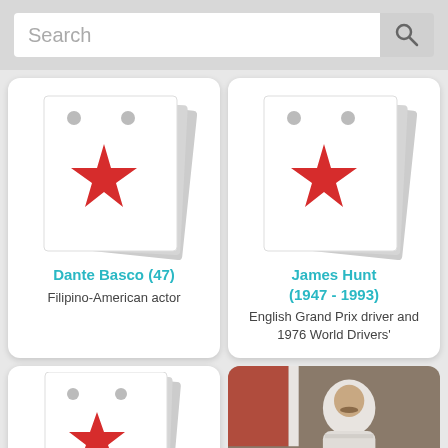Search
[Figure (illustration): Flip notepad card with red star, representing Dante Basco]
Dante Basco (47)
Filipino-American actor
[Figure (illustration): Flip notepad card with red star, representing James Hunt]
James Hunt (1947 - 1993)
English Grand Prix driver and 1976 World Drivers'
[Figure (illustration): Flip notepad card with red star (partial, bottom row left)]
[Figure (photo): Photo of a person in a spacesuit or similar gear with a Canadian flag, bottom row right]